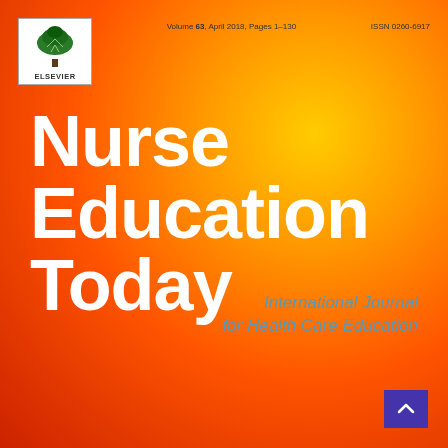[Figure (logo): Elsevier logo with tree illustration and ELSEVIER text]
Volume 63, April 2018, Pages 1–130
ISSN 0260-6917
Nurse Education Today
International Journal for Health Care Education